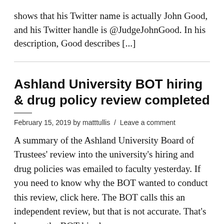shows that his Twitter name is actually John Good, and his Twitter handle is @JudgeJohnGood. In his description, Good describes [...]
Ashland University BOT hiring & drug policy review completed
February 15, 2019 by matttullis / Leave a comment
A summary of the Ashland University Board of Trustees' review into the university's hiring and drug policies was emailed to faculty yesterday. If you need to know why the BOT wanted to conduct this review, click here. The BOT calls this an independent review, but that is not accurate. That's because the BOT hired the law firm Barnes & Thornburg, and according to its